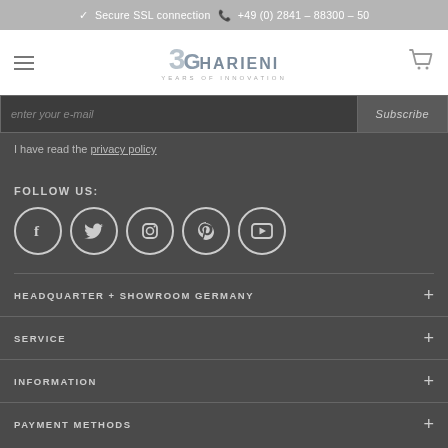✓ Secure SSL connection  +49 (0) 2841 – 88300 – 50
[Figure (logo): Gharieni 30 Years of Innovation logo with hamburger menu and cart icon]
enter your e-mail   Subscribe
I have read the privacy policy
FOLLOW US:
[Figure (infographic): Row of 5 social media icons: Facebook, Twitter, Instagram, Pinterest, YouTube — white circles on dark background]
HEADQUARTER + SHOWROOM GERMANY
SERVICE
INFORMATION
PAYMENT METHODS